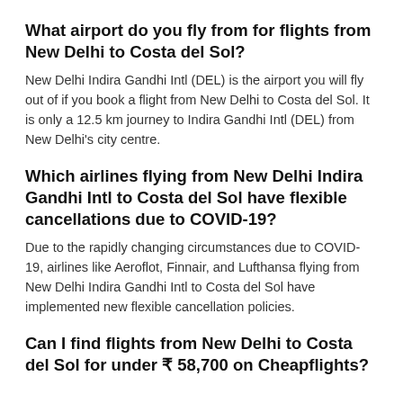What airport do you fly from for flights from New Delhi to Costa del Sol?
New Delhi Indira Gandhi Intl (DEL) is the airport you will fly out of if you book a flight from New Delhi to Costa del Sol. It is only a 12.5 km journey to Indira Gandhi Intl (DEL) from New Delhi's city centre.
Which airlines flying from New Delhi Indira Gandhi Intl to Costa del Sol have flexible cancellations due to COVID-19?
Due to the rapidly changing circumstances due to COVID-19, airlines like Aeroflot, Finnair, and Lufthansa flying from New Delhi Indira Gandhi Intl to Costa del Sol have implemented new flexible cancellation policies.
Can I find flights from New Delhi to Costa del Sol for under ₹ 58,700 on Cheapflights?